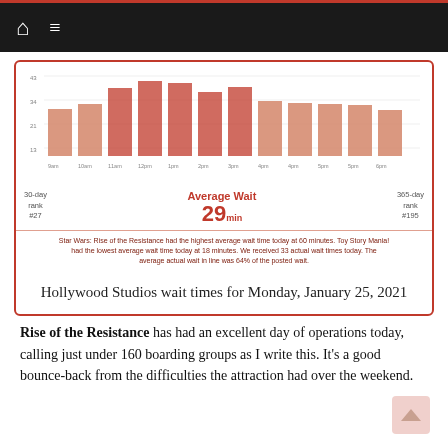Navigation bar with home and menu icons
[Figure (bar-chart): Hollywood Studios average wait times by hour]
Average Wait 29 min
30-day rank #27
365-day rank #195
Star Wars: Rise of the Resistance had the highest average wait time today at 60 minutes. Toy Story Mania! had the lowest average wait time today at 18 minutes. We received 33 actual wait times today. The average actual wait in line was 64% of the posted wait.
Hollywood Studios wait times for Monday, January 25, 2021
Rise of the Resistance has had an excellent day of operations today, calling just under 160 boarding groups as I write this.  It's a good bounce-back from the difficulties the attraction had over the weekend.